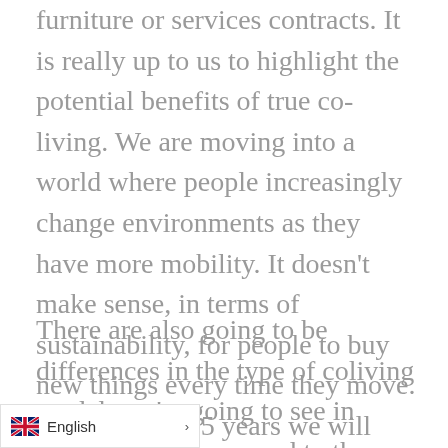furniture or services contracts. It is really up to us to highlight the potential benefits of true co-living. We are moving into a world where people increasingly change environments as they have more mobility. It doesn't make sense, in terms of sustainability, for people to buy new things every time they move. Maybe in 10-15 years we will look back at our current lifestyle and find it ridiculous.
There are also going to be differences in the type of coliving models we're going to see in dense cities as opposed to those in suburban areas... My intuition is that in cities designs that cater to an